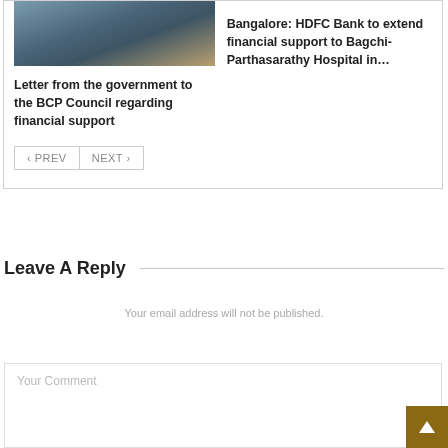[Figure (photo): Thumbnail photo of a building/street scene with purple signage]
Letter from the government to the BCP Council regarding financial support
Bangalore: HDFC Bank to extend financial support to Bagchi-Parthasarathy Hospital in…
< PREV   NEXT >
Leave A Reply
Your email address will not be published.
Your Comment